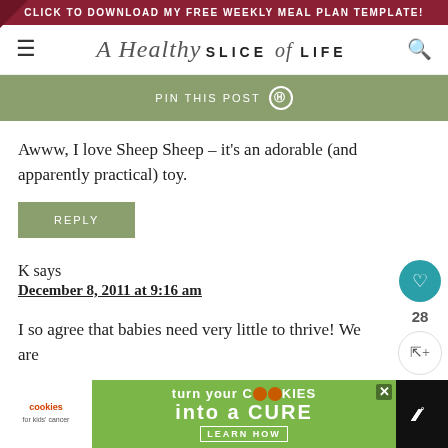CLICK TO DOWNLOAD MY FREE WEEKLY MEAL PLAN TEMPLATE!
A Healthy SLICE of LIFE
PIN THIS POST
Awww, I love Sheep Sheep – it's an adorable (and apparently practical) toy.
REPLY
K says
December 8, 2011 at 9:16 am
I so agree that babies need very little to thrive! We are
[Figure (screenshot): Advertisement banner: 'turn your COOKIES into a CURE LEARN HOW' for cookies for kids' cancer]